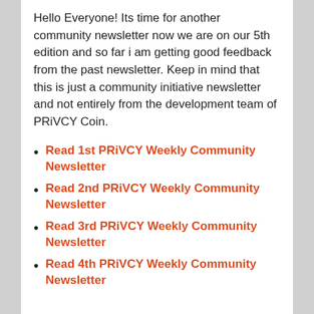Hello Everyone! Its time for another community newsletter now we are on our 5th edition and so far i am getting good feedback from the past newsletter. Keep in mind that this is just a community initiative newsletter and not entirely from the development team of PRiVCY Coin.
Read 1st PRiVCY Weekly Community Newsletter
Read 2nd PRiVCY Weekly Community Newsletter
Read 3rd PRiVCY Weekly Community Newsletter
Read 4th PRiVCY Weekly Community Newsletter